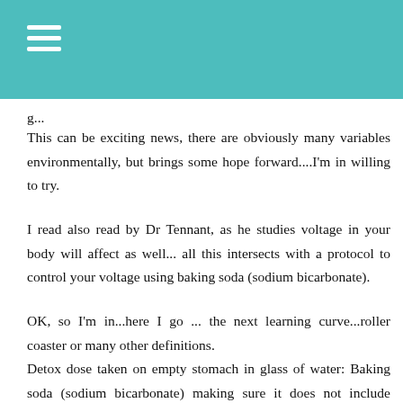This can be exciting news, there are obviously many variables environmentally, but brings some hope forward....I'm in willing to try.
I read also read by Dr Tennant, as he studies voltage in your body will affect as well... all this intersects with a protocol to control your voltage using baking soda (sodium bicarbonate).
OK, so I'm in...here I go ... the next learning curve...roller coaster or many other definitions.
Detox dose taken on empty stomach in glass of water: Baking soda (sodium bicarbonate) making sure it does not include aluminum in the ingredient list. Learning to check